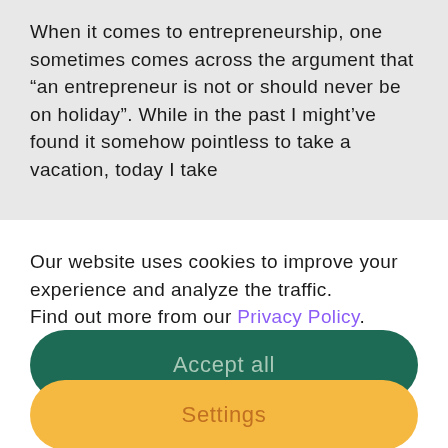When it comes to entrepreneurship, one sometimes comes across the argument that “an entrepreneur is not or should never be on holiday”. While in the past I might’ve found it somehow pointless to take a vacation, today I take
Our website uses cookies to improve your experience and analyze the traffic.
Find out more from our Privacy Policy.
Accept all
Settings